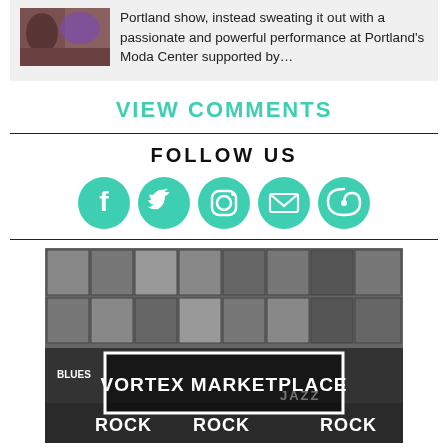Portland show, instead sweating it out with a passionate and powerful performance at Portland's Moda Center supported by…
VIEW COMMENTS
FOLLOW US
[Figure (infographic): Five teal social media icon circles: Facebook, Twitter, Instagram, Email, and a spiral/vortex icon]
[Figure (photo): Grayscale photo of a record store with album covers on shelves and bin dividers reading ROCK, JAZZ, BLUES, WORLD. A white rectangle overlay reads VORTEX MARKETPLACE in bold white text.]